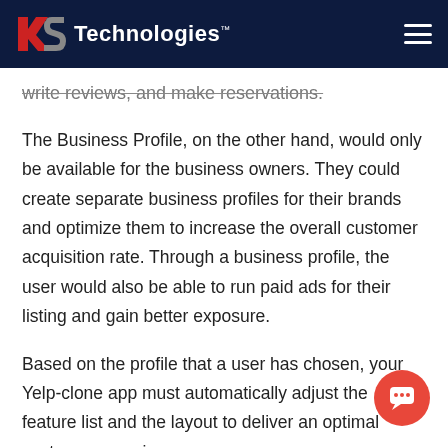RS Technologies™
write reviews, and make reservations.
The Business Profile, on the other hand, would only be available for the business owners. They could create separate business profiles for their brands and optimize them to increase the overall customer acquisition rate. Through a business profile, the user would also be able to run paid ads for their listing and gain better exposure.
Based on the profile that a user has chosen, your Yelp-clone app must automatically adjust the feature list and the layout to deliver an optimal customer experience.